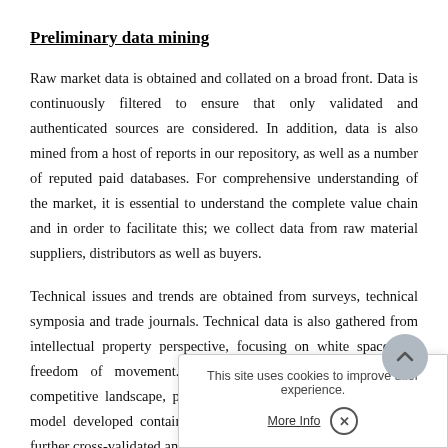Preliminary data mining
Raw market data is obtained and collated on a broad front. Data is continuously filtered to ensure that only validated and authenticated sources are considered. In addition, data is also mined from a host of reports in our repository, as well as a number of reputed paid databases. For comprehensive understanding of the market, it is essential to understand the complete value chain and in order to facilitate this; we collect data from raw material suppliers, distributors as well as buyers.
Technical issues and trends are obtained from surveys, technical symposia and trade journals. Technical data is also gathered from intellectual property perspective, focusing on white space and freedom of movement. Industry dynamics with re[gard to competitive landscape,] pricing trends are also gath[ered...] developed contains a wide [...] then further cross-validated and authenticated with [...]